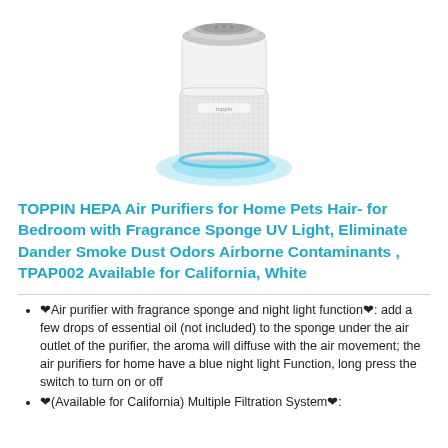[Figure (photo): White cylindrical TOPPIN HEPA air purifier with blue glowing base and mesh exterior, viewed from slightly above]
TOPPIN HEPA Air Purifiers for Home Pets Hair- for Bedroom with Fragrance Sponge UV Light, Eliminate Dander Smoke Dust Odors Airborne Contaminants , TPAP002 Available for California, White
❤Air purifier with fragrance sponge and night light function❤: add a few drops of essential oil (not included) to the sponge under the air outlet of the purifier, the aroma will diffuse with the air movement; the air purifiers for home have a blue night light Function, long press the switch to turn on or off
❤(Available for California) Multiple Filtration System❤: